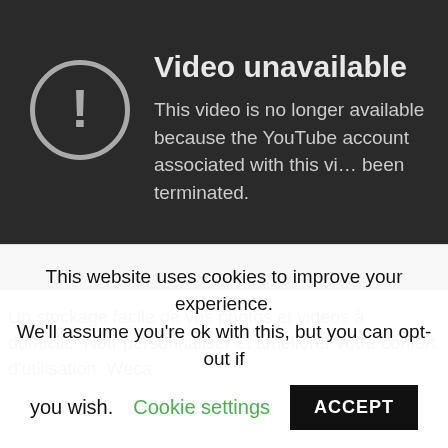[Figure (screenshot): YouTube 'Video unavailable' error screen on a dark background. A circle with an exclamation mark icon is on the left. Title reads 'Video unavailable'. Description reads 'This video is no longer available because the YouTube account associated with this video has been terminated.']
Un stockage facile de vos photos et vidéos à domicile. Notr personnaliser et améliorer votre confort d'utilisation. Weca
This website uses cookies to improve your experience. We'll assume you're ok with this, but you can opt-out if you wish. Cookie settings ACCEPT